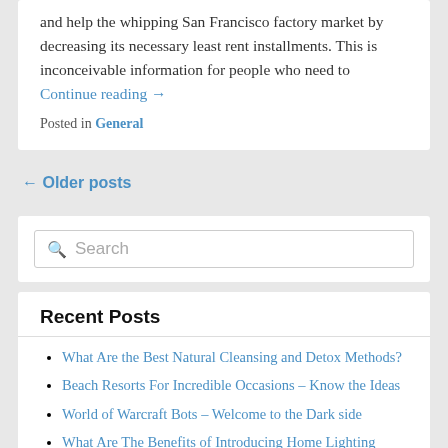and help the whipping San Francisco factory market by decreasing its necessary least rent installments. This is inconceivable information for people who need to Continue reading →
Posted in General
← Older posts
Search
Recent Posts
What Are the Best Natural Cleansing and Detox Methods?
Beach Resorts For Incredible Occasions – Know the Ideas
World of Warcraft Bots – Welcome to the Dark side
What Are The Benefits of Introducing Home Lighting Control Systems?